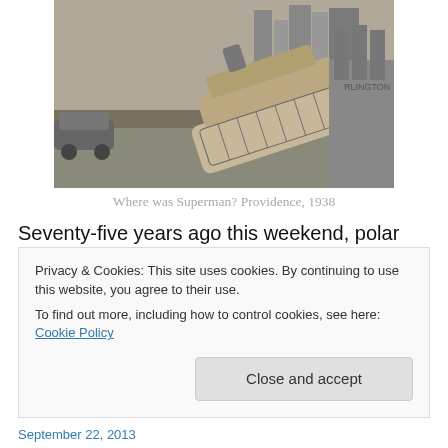[Figure (photo): Black and white historical photograph showing a boat tilted and partially capsized at a dock, with old cars and industrial buildings visible in the background. Providence, 1938.]
Where was Superman? Providence, 1938
Seventy-five years ago this weekend, polar bears first came down from the melting icebergs of the north and invaded New England, toppling buildings, tossing boats
Privacy & Cookies: This site uses cookies. By continuing to use this website, you agree to their use.
To find out more, including how to control cookies, see here: Cookie Policy
Close and accept
September 22, 2013